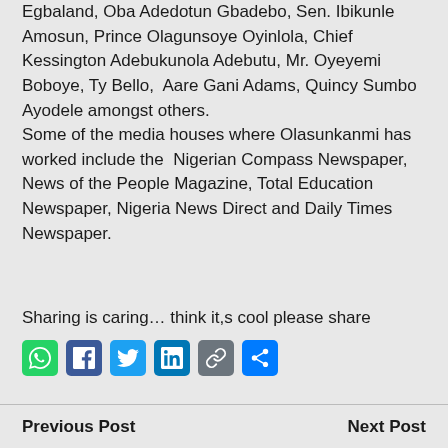Egbaland, Oba Adedotun Gbadebo, Sen. Ibikunle Amosun, Prince Olagunsoye Oyinlola, Chief Kessington Adebukunola Adebutu, Mr. Oyeyemi Boboye, Ty Bello, Aare Gani Adams, Quincy Sumbo Ayodele amongst others.
Some of the media houses where Olasunkanmi has worked include the Nigerian Compass Newspaper, News of the People Magazine, Total Education Newspaper, Nigeria News Direct and Daily Times Newspaper.
Sharing is caring... think it,s cool please share
[Figure (other): Social media share icons: WhatsApp, Facebook, Twitter, LinkedIn, Copy Link, Share]
Previous Post    Next Post